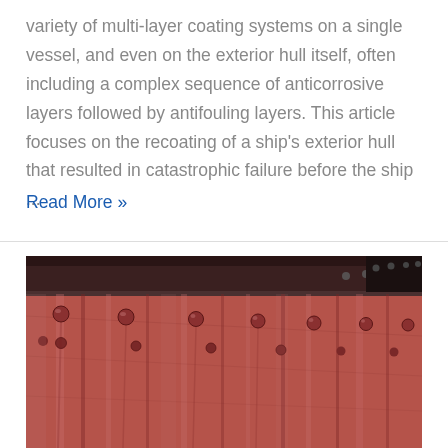variety of multi-layer coating systems on a single vessel, and even on the exterior hull itself, often including a complex sequence of anticorrosive layers followed by antifouling layers. This article focuses on the recoating of a ship's exterior hull that resulted in catastrophic failure before the ship ...
Read More »
[Figure (photo): Close-up photograph of a ship's exterior hull showing riveted metal plates with dark reddish-brown antifouling/anticorrosive coating. Visible are rows of rivets along the hull plating, with streaking and discoloration on the coating surface. The upper portion shows a darker section (possibly a deck edge or rub rail) with riveted joints.]